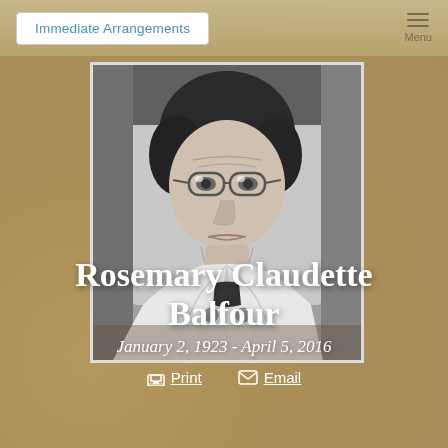Immediate Arrangements | Menu
[Figure (photo): Black and white portrait photograph of an elderly woman wearing glasses and a white blazer/jacket, with short dark curly hair]
Rosemary Claudette Balfour
January 2, 1923 - April 5, 2016
Print  Email